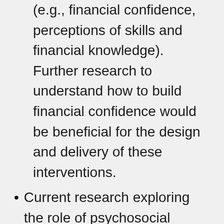(e.g., financial confidence, perceptions of skills and financial knowledge). Further research to understand how to build financial confidence would be beneficial for the design and delivery of these interventions.
Current research exploring the role of psychosocial factors in financial decision-making is limited by cross-sectional data, meaning that cause and effect cannot be clearly established. Further research in this area would benefit from